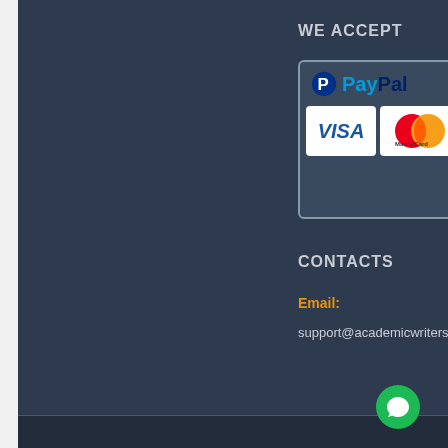WE ACCEPT
[Figure (logo): Payment methods panel showing PayPal logo, VISA card, and MasterCard logos inside a bordered box]
CONTACTS
Email:
support@academicwritersweb...
© Copyright 2021 Academicwriters...